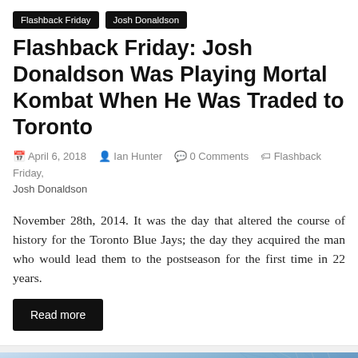Flashback Friday | Josh Donaldson
Flashback Friday: Josh Donaldson Was Playing Mortal Kombat When He Was Traded to Toronto
April 6, 2018  Ian Hunter  0 Comments  Flashback Friday, Josh Donaldson
November 28th, 2014. It was the day that altered the course of history for the Toronto Blue Jays; the day they acquired the man who would lead them to the postseason for the first time in 22 years.
Read more
[Figure (photo): Photograph of Josh Donaldson wearing a Toronto Blue Jays helmet with maple leaf logo, wearing sunglasses, in front of a batting cage net]